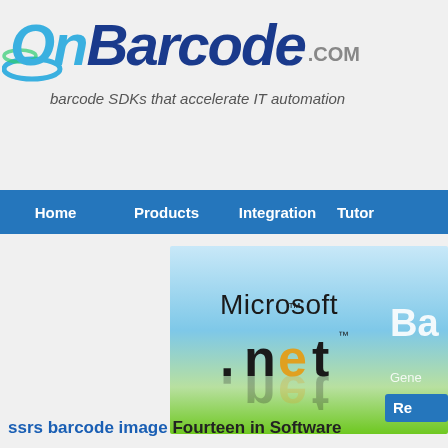OnBarcode.com — barcode SDKs that accelerate IT automation
Home | Products | Integration | Tutor
[Figure (screenshot): Microsoft .NET logo banner with blue-to-green gradient background. Shows 'Microsoft' text and '.net' logo with orange/yellow/green colored letters. Partially visible 'Ba' and 'Gene' and 'Re' text on the right side.]
ssrs barcode image Fourteen in Software